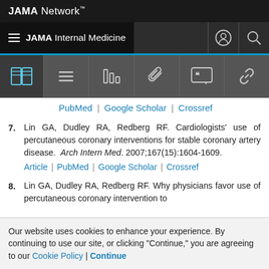JAMA Network
JAMA Internal Medicine
7. Lin GA, Dudley RA, Redberg RF. Cardiologists' use of percutaneous coronary interventions for stable coronary artery disease. Arch Intern Med. 2007;167(15):1604-1609. Article | PubMed | Google Scholar | Crossref
8. Lin GA, Dudley RA, Redberg RF. Why physicians favor use of percutaneous coronary intervention to
Our website uses cookies to enhance your experience. By continuing to use our site, or clicking "Continue," you are agreeing to our Cookie Policy | Continue